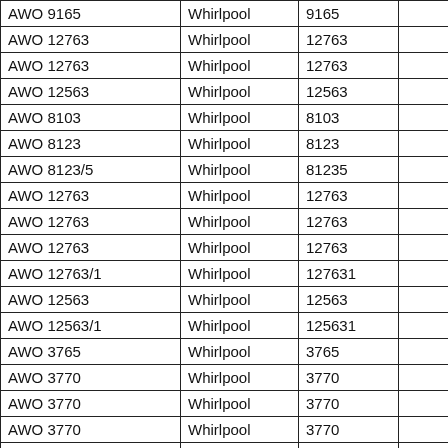| AWO 9165 | Whirlpool | 9165 |  |
| AWO 12763 | Whirlpool | 12763 |  |
| AWO 12763 | Whirlpool | 12763 |  |
| AWO 12563 | Whirlpool | 12563 |  |
| AWO 8103 | Whirlpool | 8103 |  |
| AWO 8123 | Whirlpool | 8123 |  |
| AWO 8123/5 | Whirlpool | 81235 |  |
| AWO 12763 | Whirlpool | 12763 |  |
| AWO 12763 | Whirlpool | 12763 |  |
| AWO 12763 | Whirlpool | 12763 |  |
| AWO 12763/1 | Whirlpool | 127631 |  |
| AWO 12563 | Whirlpool | 12563 |  |
| AWO 12563/1 | Whirlpool | 125631 |  |
| AWO 3765 | Whirlpool | 3765 |  |
| AWO 3770 | Whirlpool | 3770 |  |
| AWO 3770 | Whirlpool | 3770 |  |
| AWO 3770 | Whirlpool | 3770 |  |
| AWO 3760 | Whirlpool | 3760 |  |
| AWO 3760 | Whirlpool | 3760 |  |
| AWO 3660 | Whirlpool | 3660 |  |
| AWO 3565 | Whirlpool | 3565 |  |
| AWO 3560 | Whirlpool | 3560 |  |